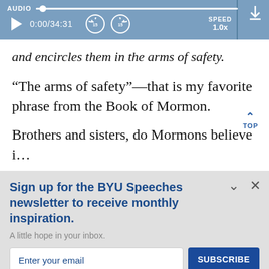[Figure (screenshot): Audio player bar with play button, time display 0:00/34:31, skip back/forward 15s buttons, speed 1.0x, and download icon. Blue/steel background.]
and encircles them in the arms of safety.
“The arms of safety”—that is my favorite phrase from the Book of Mormon.
Brothers and sisters, do Mormons believe i…
Sign up for the BYU Speeches newsletter to receive monthly inspiration.
A little hope in your inbox.
Enter your email
SUBSCRIBE